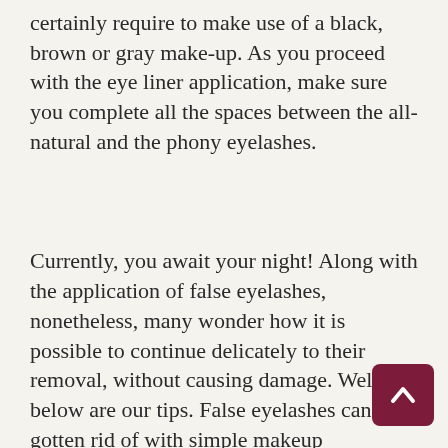certainly require to make use of a black, brown or gray make-up. As you proceed with the eye liner application, make sure you complete all the spaces between the all-natural and the phony eyelashes.
Currently, you await your night! Along with the application of false eyelashes, nonetheless, many wonder how it is possible to continue delicately to their removal, without causing damage. Well, below are our tips. False eyelashes can be gotten rid of with simple makeup eliminator. Use the make-up cleaner on a cotton stick as well as pass it on the area where you used the false eyelashes. Leave it on for concerning a min and then carefully remove the false eyelashes, trying not to take the all-natural ones with you! Once again, proceed with an upward motion. Completed!